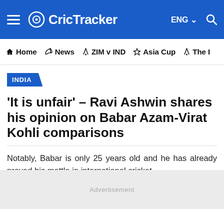CricTracker — ENG — Navigation: Home, News, ZIM v IND, Asia Cup, The I
INDIA
'It is unfair' – Ravi Ashwin shares his opinion on Babar Azam-Virat Kohli comparisons
Notably, Babar is only 25 years old and he has already proved his mettle in international cricket.
Advertisement